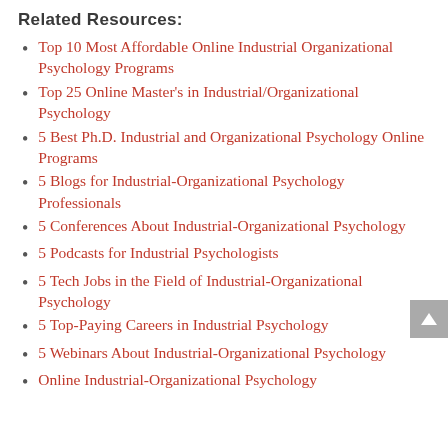Related Resources:
Top 10 Most Affordable Online Industrial Organizational Psychology Programs
Top 25 Online Master's in Industrial/Organizational Psychology
5 Best Ph.D. Industrial and Organizational Psychology Online Programs
5 Blogs for Industrial-Organizational Psychology Professionals
5 Conferences About Industrial-Organizational Psychology
5 Podcasts for Industrial Psychologists
5 Tech Jobs in the Field of Industrial-Organizational Psychology
5 Top-Paying Careers in Industrial Psychology
5 Webinars About Industrial-Organizational Psychology
Online Industrial-Organizational Psychology